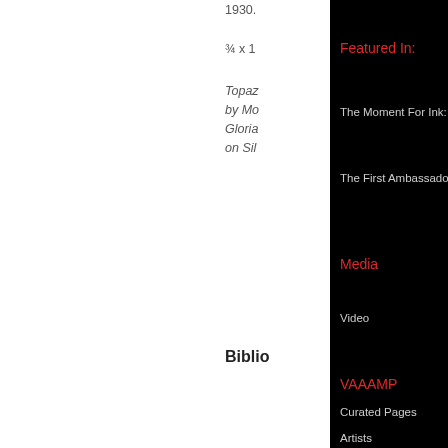1930.
¾ x 1
Topaz
by Mo
Gloria
on Sil
Biblio
Obata
letters
trip to
Yosem
Yosem
Topaz
Art of
Kimi K
Hill, K
Topaz
Art of
Ross.
Featured In:
The Moment For Ink: Introduction
The First Ambassadors
Media
Video
VAAAMP
Curated Pages
Artists
Tags
VIRTUAL ASIAN-AMERICAN ART MUSEUM PROJECT
Art Educators   PILOT LAB
[Figure (logo): VAAAMP logo - three overlapping red M/mountain shapes forming a geometric pattern, with text 'VIRTUAL ASIAN-AMERICAN ART MUSEUM PROJECT' below]